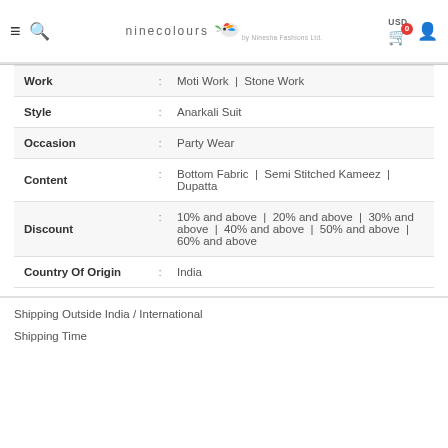ninecolours by Ninesha Fashions Ltd — USD 0 cart — user icon
| Attribute |  | Value |
| --- | --- | --- |
| Work | : | Moti Work | Stone Work |
| Style | : | Anarkali Suit |
| Occasion | : | Party Wear |
| Content | : | Bottom Fabric | Semi Stitched Kameez | Dupatta |
| Discount | : | 10% and above | 20% and above | 30% and above | 40% and above | 50% and above | 60% and above |
| Country Of Origin | : | India |
Shipping Outside India / International
Shipping Time